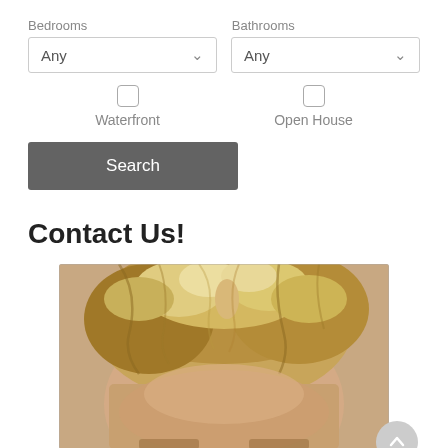Bedrooms
Bathrooms
Any (Bedrooms dropdown)
Any (Bathrooms dropdown)
Waterfront
Open House
Search
Contact Us!
[Figure (photo): Cropped photo of a person with blonde/light brown wavy hair, face partially visible from top down to eyes]